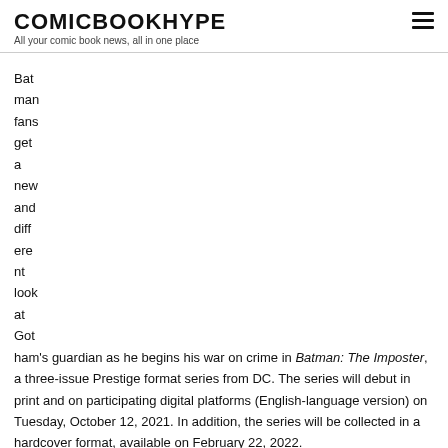COMICBOOKHYPE
All your comic book news, all in one place
Batman fans get a new and different look at Gotham's guardian as he begins his war on crime in Batman: The Imposter, a three-issue Prestige format series from DC. The series will debut in print and on participating digital platforms (English-language version) on Tuesday, October 12, 2021. In addition, the series will be collected in a hardcover format, available on February 22, 2022.